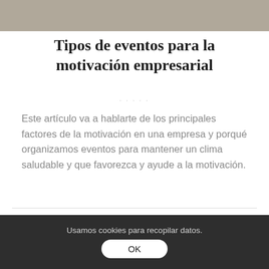[Figure (photo): Partial photo of a desk or work surface, cropped at top of page]
Tipos de eventos para la motivación empresarial
Este artículo va a hablarte de los principales factores de la motivación en una empresa y porqué organizamos eventos para mantener un clima saludable y que favorezca y ayude a la motivación.
15 septiembre, 2021
Usamos cookies para recopilar datos.